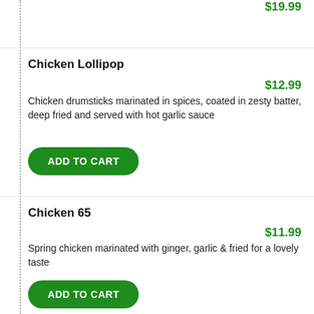$19.99
Chicken Lollipop
$12.99
Chicken drumsticks marinated in spices, coated in zesty batter, deep fried and served with hot garlic sauce
ADD TO CART
Chicken 65
$11.99
Spring chicken marinated with ginger, garlic & fried for a lovely taste
ADD TO CART
Chicken 555
$12.99
Deep fried chicken cooked in special sauce with